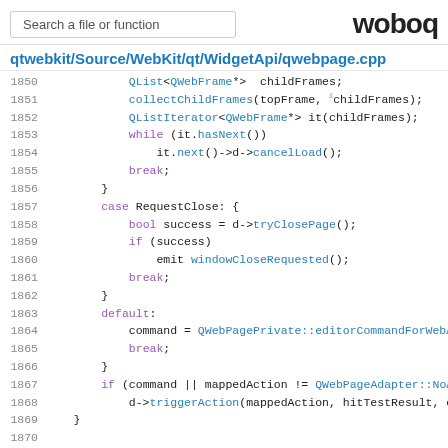Search a file or function | woboq
qtwebkit/Source/WebKit/qt/WidgetApi/qwebpage.cpp
Code listing lines 1850-1875